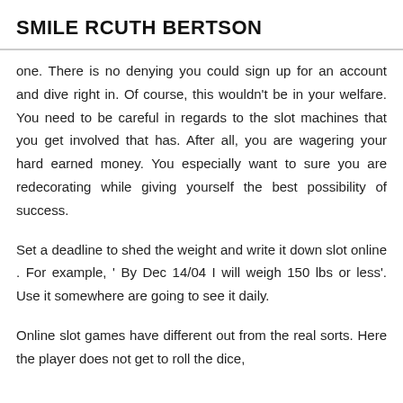SMILE RCUTH BERTSON
one. There is no denying you could sign up for an account and dive right in. Of course, this wouldn't be in your welfare. You need to be careful in regards to the slot machines that you get involved that has. After all, you are wagering your hard earned money. You especially want to sure you are redecorating while giving yourself the best possibility of success.
Set a deadline to shed the weight and write it down slot online . For example, ' By Dec 14/04 I will weigh 150 lbs or less'. Use it somewhere are going to see it daily.
Online slot games have different out from the real sorts. Here the player does not get to roll the dice,